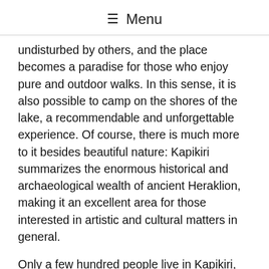≡ Menu
undisturbed by others, and the place becomes a paradise for those who enjoy pure and outdoor walks. In this sense, it is also possible to camp on the shores of the lake, a recommendable and unforgettable experience. Of course, there is much more to it besides beautiful nature: Kapikiri summarizes the enormous historical and archaeological wealth of ancient Heraklion, making it an excellent area for those interested in artistic and cultural matters in general.
Only a few hundred people live in Kapikiri, an authentic Turkish heritage relic, with Hellenic roots. It is a kind of open-air museum, and it